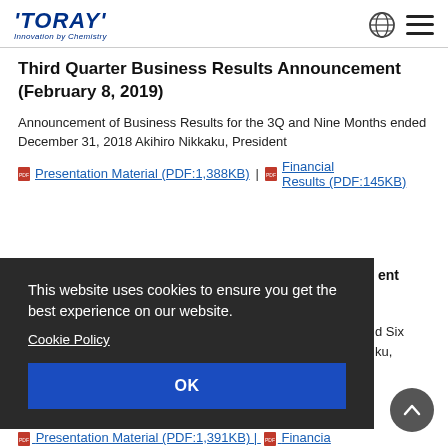TORAY Innovation by Chemistry
Third Quarter Business Results Announcement (February 8, 2019)
Announcement of Business Results for the 3Q and Nine Months ended December 31, 2018 Akihiro Nikkaku, President
Presentation Material (PDF:1,388KB) | Financial Results (PDF:145KB)
This website uses cookies to ensure you get the best experience on our website.
Cookie Policy
OK
ent
d Six ku,
Presentation Material (PDF:1,391KB) | Financia